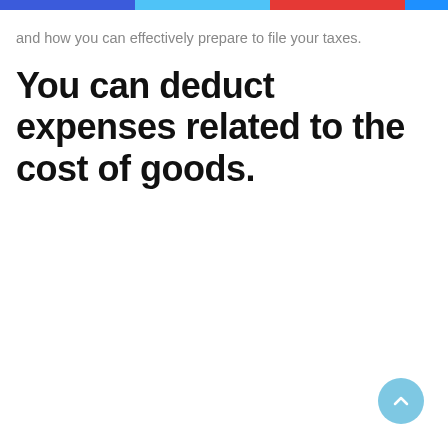and how you can effectively prepare to file your taxes.
You can deduct expenses related to the cost of goods.